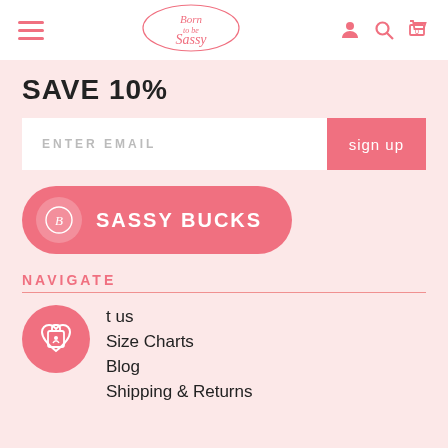Born to be Sassy — Navigation header with hamburger menu, logo, user/search/cart icons
SAVE 10%
ENTER EMAIL | sign up
[Figure (other): Pink rounded pill button with 'SASSY BUCKS' text and a logo icon on the left]
NAVIGATE
[Figure (other): Pink circle with shopping bag and heart icon (wishlist button)]
t us (Contact us)
Size Charts
Blog
Shipping & Returns